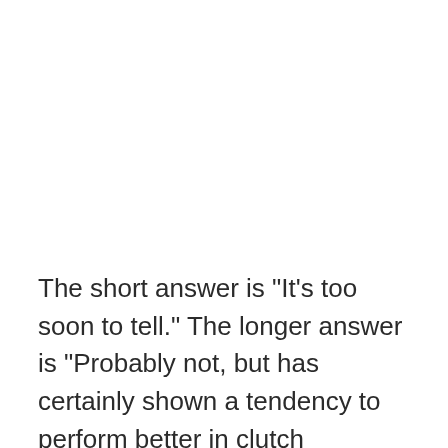The short answer is "It's too soon to tell." The longer answer is "Probably not, but has certainly shown a tendency to perform better in clutch situations." There's more than just a semantic distinction between saying Turner is a clutch hitter and saying he has hit well in the clutch, as the latter merely describes events that have happened while the former implies not only that a particular skill exists, but also that Turner happens to